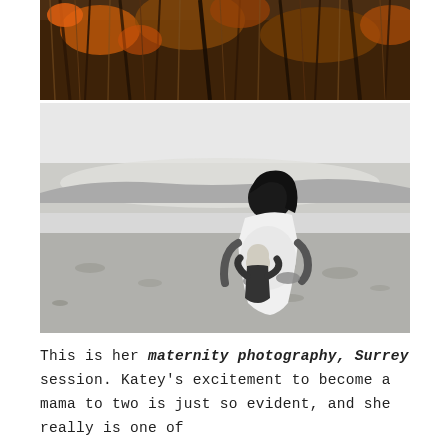[Figure (photo): Close-up photo of dry grass/reeds with orange and brown autumn tones]
[Figure (photo): Black and white maternity photo of a pregnant woman in a white dress on a rocky beach, with a young child hugging her belly]
This is her maternity photography, Surrey session. Katey's excitement to become a mama to two is just so evident, and she really is one of